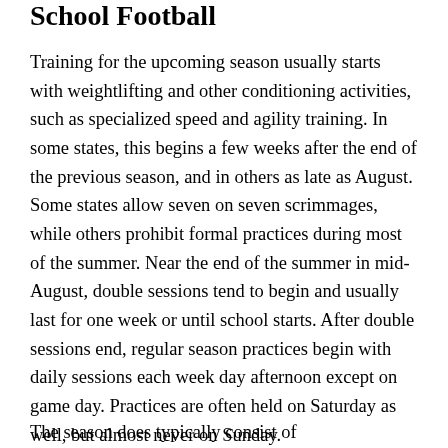School Football
Training for the upcoming season usually starts with weightlifting and other conditioning activities, such as specialized speed and agility training. In some states, this begins a few weeks after the end of the previous season, and in others as late as August. Some states allow seven on seven scrimmages, while others prohibit formal practices during most of the summer. Near the end of the summer in mid-August, double sessions tend to begin and usually last for one week or until school starts. After double sessions end, regular season practices begin with daily sessions each week day afternoon except on game day. Practices are often held on Saturday as well, but almost never on Sunday.
The season does typically consist of...